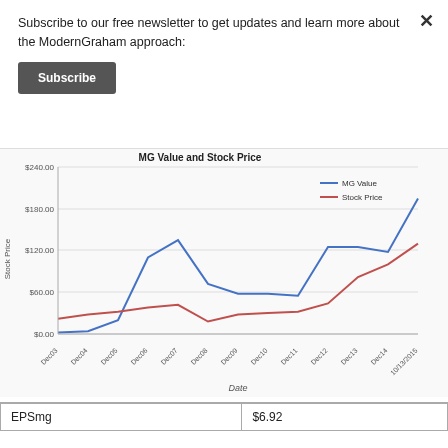Subscribe to our free newsletter to get updates and learn more about the ModernGraham approach:
Subscribe
[Figure (line-chart): MG Value and Stock Price]
| EPSmg | $6.92 |
| --- | --- |